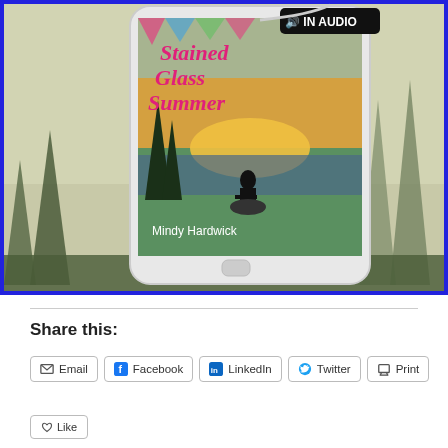[Figure (illustration): Book cover for 'Stained Glass Summer' by Mindy Hardwick displayed on a smartphone, set against a misty forest background with tall evergreen trees. The phone shows a girl silhouette sitting by a lake at sunset. An 'IN AUDIO' badge appears top right. The image has a blue border.]
Share this:
Email
Facebook
LinkedIn
Twitter
Print